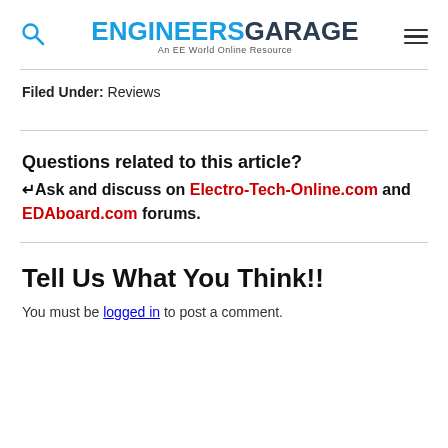ENGINEERS GARAGE — An EE World Online Resource
Filed Under: Reviews
Questions related to this article?
↵Ask and discuss on Electro-Tech-Online.com and EDAboard.com forums.
Tell Us What You Think!!
You must be logged in to post a comment.